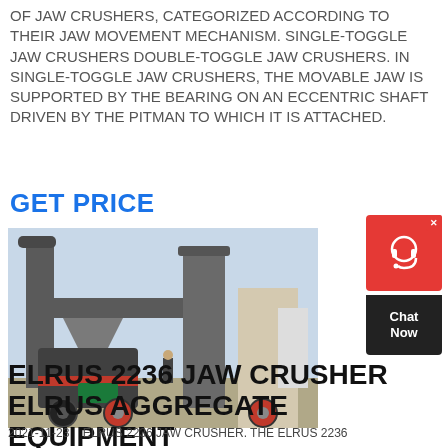OF JAW CRUSHERS, CATEGORIZED ACCORDING TO THEIR JAW MOVEMENT MECHANISM. SINGLE-TOGGLE JAW CRUSHERS DOUBLE-TOGGLE JAW CRUSHERS. IN SINGLE-TOGGLE JAW CRUSHERS, THE MOVABLE JAW IS SUPPORTED BY THE BEARING ON AN ECCENTRIC SHAFT DRIVEN BY THE PITMAN TO WHICH IT IS ATTACHED.
GET PRICE
[Figure (photo): Industrial jaw crusher / milling equipment on a construction site with large metal ducts and machinery]
[Figure (infographic): Chat Now widget with red background, headset icon, and dark Chat Now button]
ELRUS 2236 JAW CRUSHER ELRUS AGGREGATE EQUIPMENT
2021-11-23    ELRUS 2236 JAW CRUSHER. THE ELRUS 2236